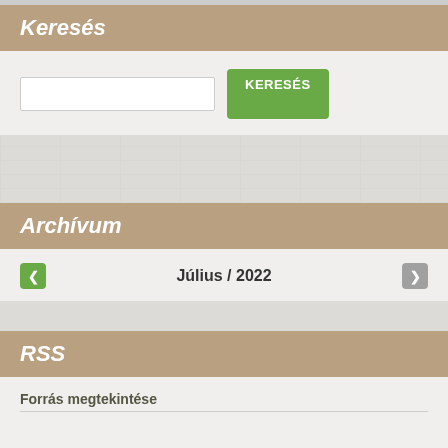Keresés
[Figure (screenshot): Search input box and green KERESÉS button]
[Figure (other): Grey advertisement/banner placeholder block]
Archívum
Július / 2022
[Figure (other): Grey advertisement/banner placeholder block]
RSS
Forrás megtekintése